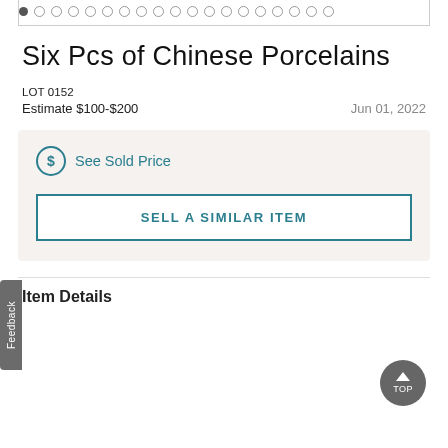[Figure (other): Image carousel dot navigation: one filled dot followed by many empty circle dots]
Six Pcs of Chinese Porcelains
LOT 0152
Estimate $100-$200   Jun 01, 2022
See Sold Price
SELL A SIMILAR ITEM
Feedback
Item Details